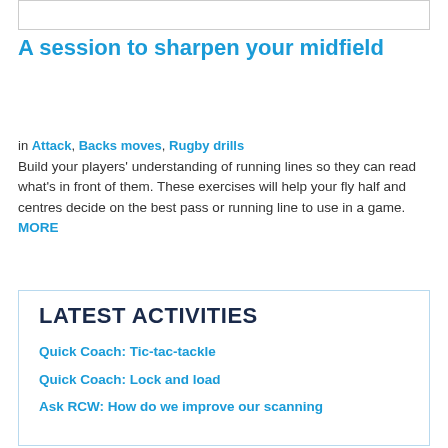[Figure (other): Empty white box with border at top of page]
A session to sharpen your midfield
in Attack, Backs moves, Rugby drills
Build your players' understanding of running lines so they can read what's in front of them. These exercises will help your fly half and centres decide on the best pass or running line to use in a game. MORE
LATEST ACTIVITIES
Quick Coach: Tic-tac-tackle
Quick Coach: Lock and load
Ask RCW: How do we improve our scanning